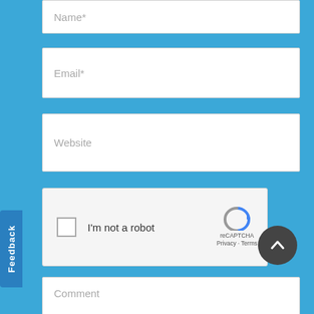[Figure (screenshot): Web form with Name, Email, Website fields, reCAPTCHA widget, Comment textarea, Feedback tab, and scroll-to-top button on blue background]
Name*
Email*
Website
I'm not a robot
reCAPTCHA
Privacy - Terms
Comment
Feedback